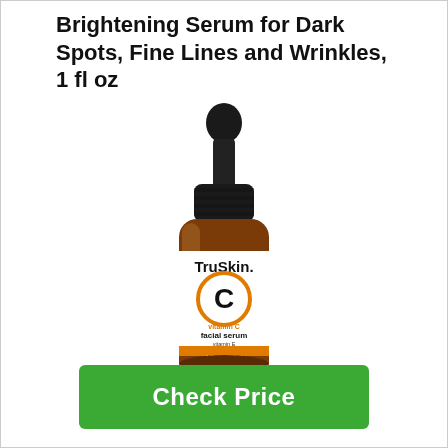Brightening Serum for Dark Spots, Fine Lines and Wrinkles, 1 fl oz
[Figure (photo): TruSkin Vitamin C Facial Serum bottle with dropper cap, amber glass bottle with white label showing TruSkin brand, large orange circle with letter C, text: vitamin C facial serum, vitamin E + hyaluronic acid, 1 FL OZ / 30ml]
Check Price